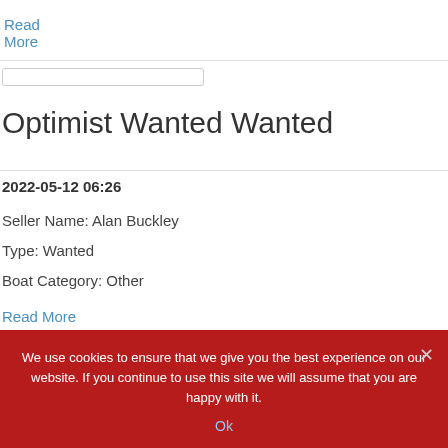Read More
Optimist Wanted Wanted
2022-05-12 06:26
Seller Name: Alan Buckley
Type: Wanted
Boat Category: Other
Read More
We use cookies to ensure that we give you the best experience on our website. If you continue to use this site we will assume that you are happy with it.
Ok